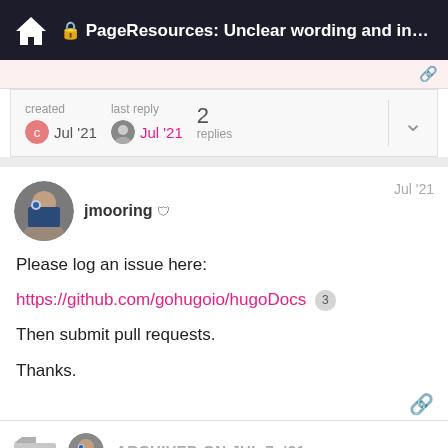PageResources: Unclear wording and inconsi...
created Jul '21   last reply Jul '21   2 replies
jmooring  Jul '21
Please log an issue here:
https://github.com/gohugoio/hugoDocs 3
Then submit pull requests.
Thanks.
ARCHIVED ON JUL 7, '21